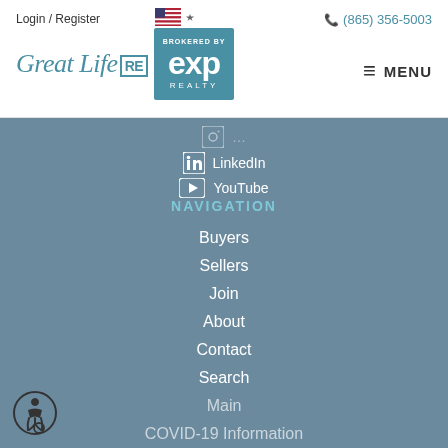Login / Register   (865) 356-5003
[Figure (logo): Great Life RE logo with eXp Realty brokered by badge]
LinkedIn
YouTube
NAVIGATION
Buyers
Sellers
Join
About
Contact
Search
Main
COVID-19 Information